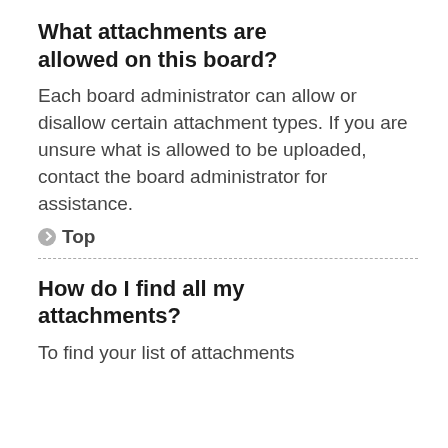What attachments are allowed on this board?
Each board administrator can allow or disallow certain attachment types. If you are unsure what is allowed to be uploaded, contact the board administrator for assistance.
Top
How do I find all my attachments?
To find your list of attachments